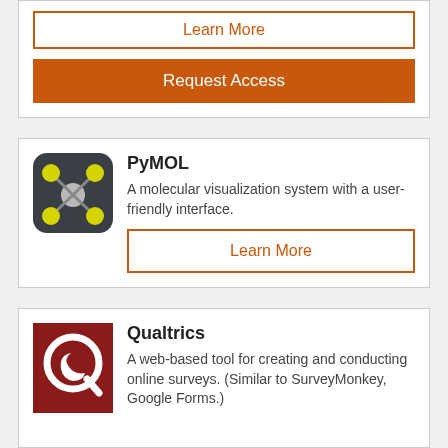[Figure (other): Top card with Learn More outline button and Request Access solid orange button]
[Figure (other): PyMOL app card with molecular visualization icon, title, description, and Learn More button]
PyMOL
A molecular visualization system with a user-friendly interface.
[Figure (other): Qualtrics app card with red Q logo icon, title, and description]
Qualtrics
A web-based tool for creating and conducting online surveys. (Similar to SurveyMonkey, Google Forms.)